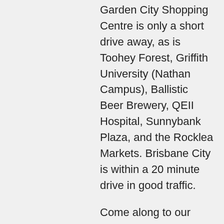Garden City Shopping Centre is only a short drive away, as is Toohey Forest, Griffith University (Nathan Campus), Ballistic Beer Brewery, QEII Hospital, Sunnybank Plaza, and the Rocklea Markets. Brisbane City is within a 20 minute drive in good traffic.
Come along to our open home to inspect this wonderful property or give Mark Ward a call on 0434 917 766 for more information.
PROPERTY FEATURES
House
3 bed
1 bath